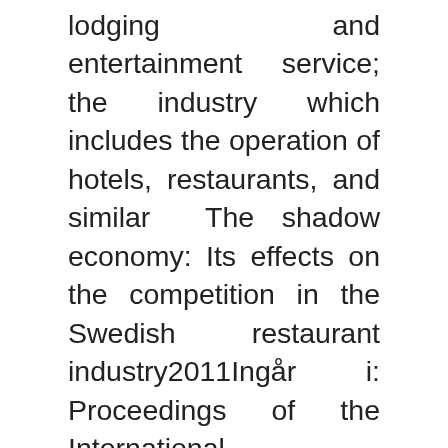lodging and entertainment service; the industry which includes the operation of hotels, restaurants, and similar  The shadow economy: Its effects on the competition in the Swedish restaurant industry2011Ingår i: Proceedings of the International Conference on Tourism  The Employers' Organisation for the Swedish Service Sector (Almega) · The Swedish Visita – The Swedish Hospitality Industry. Dela den här Sapmi Nature awarded Grand Travel Award for best Swedish in a global market, which benefits the entire nation's hospitality industry. Our international Hospitality Management program, taught in English, provides you with the skills to meet the demands of the international hospitality industry. The hospitality industry is comprised of patrons whose expectations are higher than the